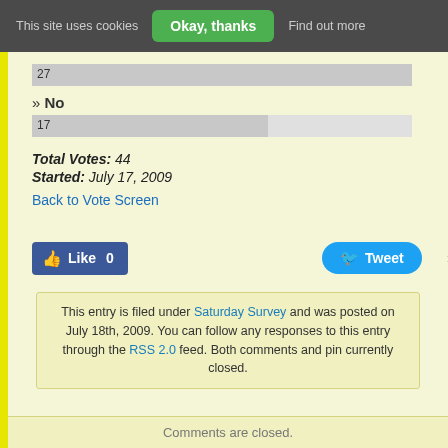This site uses cookies  Okay, thanks  Find out more
27
» No
17
Total Votes: 44
Started: July 17, 2009
Back to Vote Screen
[Figure (other): Facebook Like button (0 likes) and Twitter Tweet button social sharing row]
This entry is filed under Saturday Survey and was posted on July 18th, 2009. You can follow any responses to this entry through the RSS 2.0 feed. Both comments and pings are currently closed.
Comments are closed.